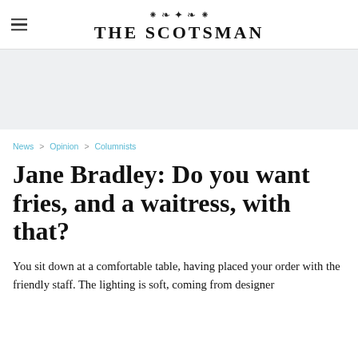THE SCOTSMAN
[Figure (other): Advertisement banner placeholder, light grey background]
News > Opinion > Columnists
Jane Bradley: Do you want fries, and a waitress, with that?
You sit down at a comfortable table, having placed your order with the friendly staff. The lighting is soft, coming from designer